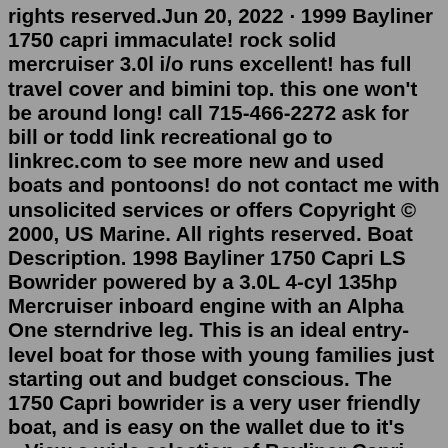rights reserved.Jun 20, 2022 · 1999 Bayliner 1750 capri immaculate! rock solid mercruiser 3.0l i/o runs excellent! has full travel cover and bimini top. this one won't be around long! call 715-466-2272 ask for bill or todd link recreational go to linkrec.com to see more new and used boats and pontoons! do not contact me with unsolicited services or offers Copyright © 2000, US Marine. All rights reserved. Boat Description. 1998 Bayliner 1750 Capri LS Bowrider powered by a 3.0L 4-cyl 135hp Mercruiser inboard engine with an Alpha One sterndrive leg. This is an ideal entry-level boat for those with young families just starting out and budget conscious. The 1750 Capri bowrider is a very user friendly boat, and is easy on the wallet due to it's ...View a wide selection of Bayliner Capri boats for sale in your area, explore detailed information & find your next boat on boats.com. #everythingboats. Explore. Back. Explore View All. Overnight Cruising ... 1999. $19,900 Seller True North Yacht Sales & Service 16. Contact. 419-834-2619.propulsion type: power. year manufactured: 1999. Bayliner Capri